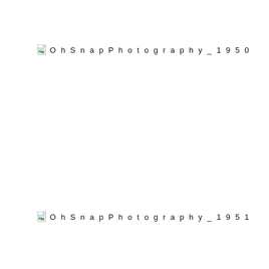[Figure (other): File icon (image placeholder) for Oh Snap Photography_1950]
Oh Snap Photography_1950
[Figure (other): File icon (image placeholder) for Oh Snap Photography_1951]
Oh Snap Photography_1951